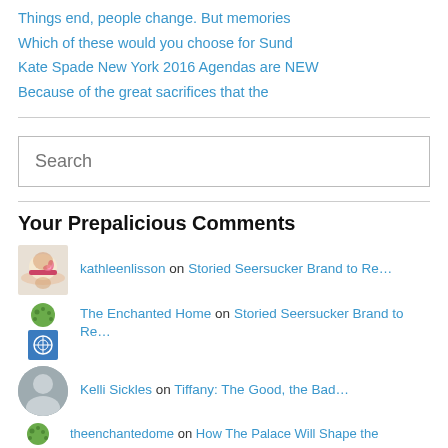Things end, people change. But memories
Which of these would you choose for Sund
Kate Spade New York 2016 Agendas are NEW
Because of the great sacrifices that the
Search
Your Prepalicious Comments
kathleenlisson on Storied Seersucker Brand to Re…
The Enchanted Home on Storied Seersucker Brand to Re…
Kelli Sickles on Tiffany: The Good, the Bad…
theenchantedome on How The Palace Will Shape the